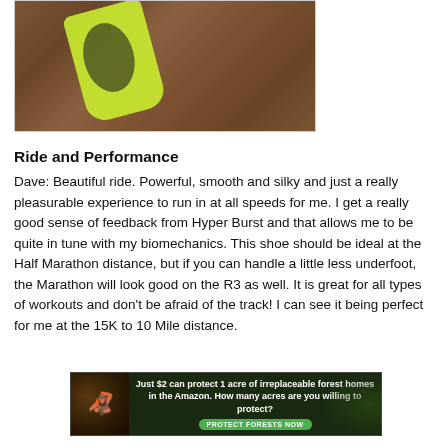[Figure (photo): Photo of a yellow/neon green running shoe on red brick pavement, partially cropped at the top]
Ride and Performance
Dave: Beautiful ride. Powerful, smooth and silky and just a really pleasurable experience to run in at all speeds for me. I get a really good sense of feedback from Hyper Burst and that allows me to be quite in tune with my biomechanics. This shoe should be ideal at the Half Marathon distance, but if you can handle a little less underfoot, the Marathon will look good on the R3 as well. It is great for all types of workouts and don't be afraid of the track! I can see it being perfect for me at the 15K to 10 Mile distance.
[Figure (photo): Advertisement banner: Just $2 can protect 1 acre of irreplaceable forest homes in the Amazon. How many acres are you willing to protect? PROTECT FORESTS NOW]